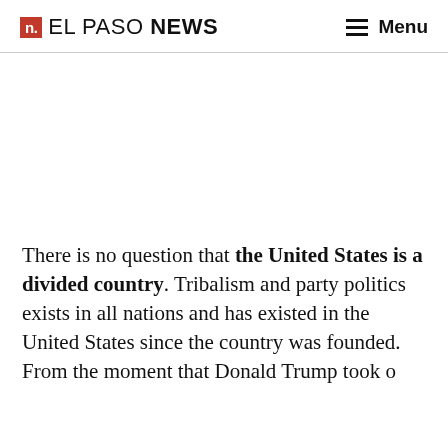n. EL PASO NEWS  Menu
[Figure (other): Advertisement or blank space area]
There is no question that the United States is a divided country. Tribalism and party politics exists in all nations and has existed in the United States since the country was founded. From the moment that Donald Trump took...